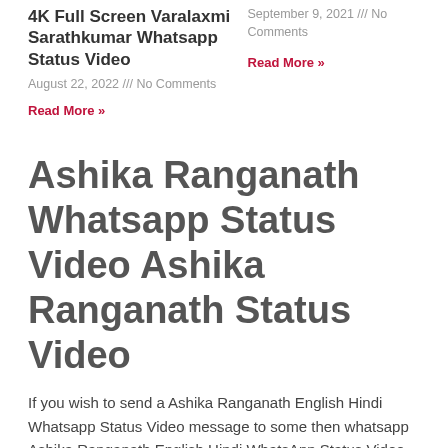4K Full Screen Varalaxmi Sarathkumar Whatsapp Status Video
August 22, 2022 /// No Comments
Read More »
September 9, 2021 /// No Comments
Read More »
Ashika Ranganath Whatsapp Status Video Ashika Ranganath Status Video
If you wish to send a Ashika Ranganath English Hindi Whatsapp Status Video message to some then whatsapp Ashika Ranganath English Hindi WhatsApp Status Video in the easiest and trending way. You can share a Ashika